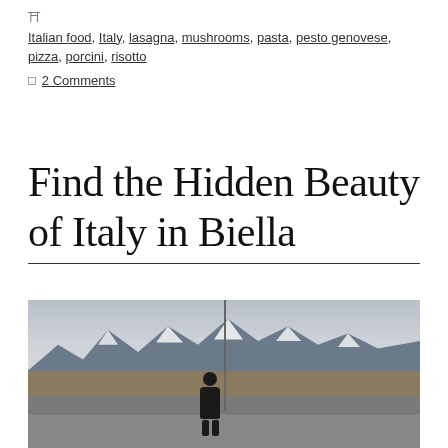Italian food, Italy, lasagna, mushrooms, pasta, pesto genovese, pizza, porcini, risotto
2 Comments
Find the Hidden Beauty of Italy in Biella
[Figure (photo): A person standing on a roadside in Biella, Italy, with snow-capped mountains and a flat field in the background under an overcast sky.]